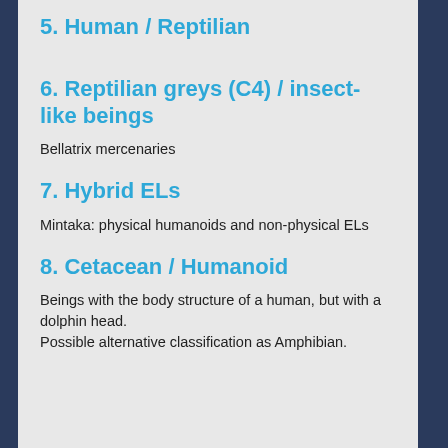5. Human / Reptilian
6. Reptilian greys (C4) / insect-like beings
Bellatrix mercenaries
7. Hybrid ELs
Mintaka: physical humanoids and non-physical ELs
8. Cetacean / Humanoid
Beings with the body structure of a human, but with a dolphin head.
Possible alternative classification as Amphibian.